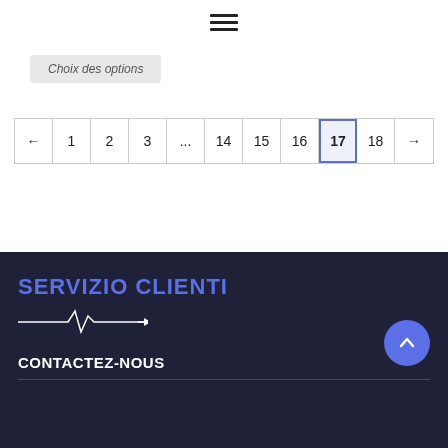☰ (hamburger menu icon)
Choix des options
← 1 2 3 ... 14 15 16 17 18 →
SERVIZIO CLIENTI
[Figure (other): Heartbeat / EKG line illustration in white on dark background]
CONTACTEZ-NOUS